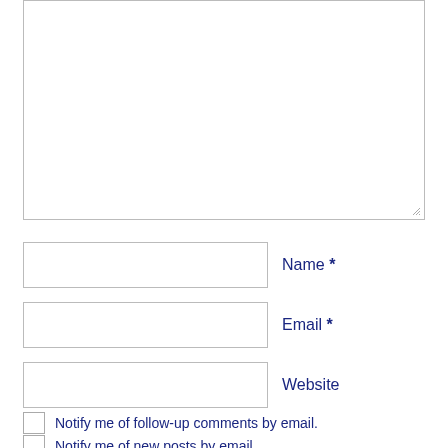[Figure (screenshot): A large empty textarea input box at the top of the page with a resize handle at the bottom-right corner.]
Name *
Email *
Website
Notify me of follow-up comments by email.
Notify me of new posts by email.